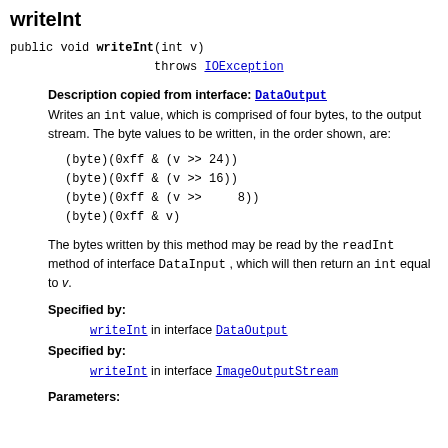writeInt
public void writeInt(int v)
                throws IOException
Description copied from interface: DataOutput
Writes an int value, which is comprised of four bytes, to the output stream. The byte values to be written, in the order shown, are:
The bytes written by this method may be read by the readInt method of interface DataInput , which will then return an int equal to v.
Specified by:
    writeInt in interface DataOutput
Specified by:
    writeInt in interface ImageOutputStream
Parameters: